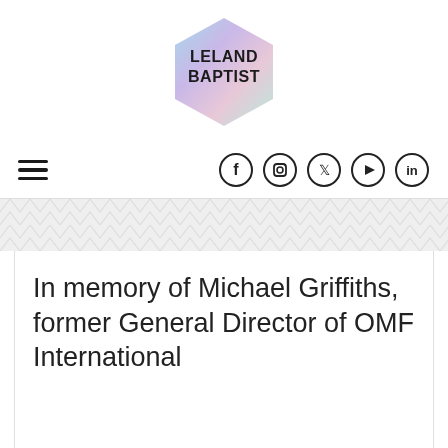[Figure (logo): Leland Baptist hexagon logo with gradient pastel colors and bold text reading LELAND BAPTIST]
Navigation bar with hamburger menu icon and social media icons: Facebook, Instagram, Twitter, YouTube, LinkedIn
In memory of Michael Griffiths, former General Director of OMF International